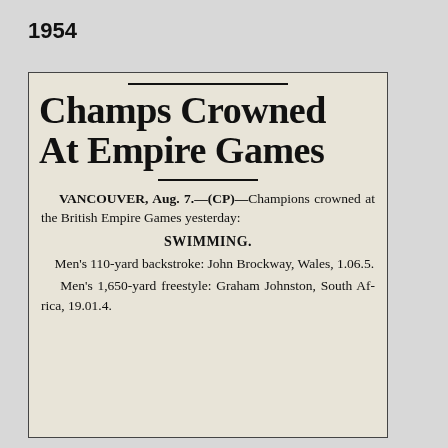1954
Champs Crowned At Empire Games
VANCOUVER, Aug. 7.—(CP)—Champions crowned at the British Empire Games yesterday:
SWIMMING.
Men's 110-yard backstroke: John Brockway, Wales, 1.06.5.
Men's 1,650-yard freestyle: Graham Johnston, South Africa, 19.01.4.